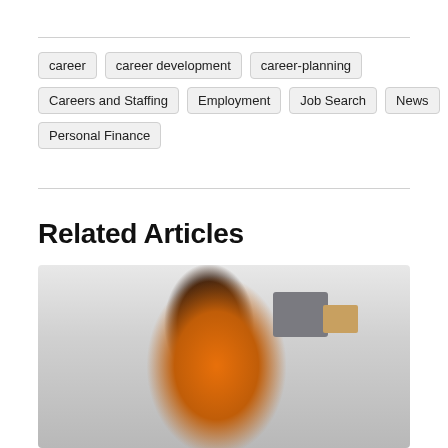career
career development
career-planning
Careers and Staffing
Employment
Job Search
News
Personal Finance
Related Articles
[Figure (photo): A woman with long braids wearing an orange shirt, writing or working at a desk in an office environment with shelving and boxes in the background.]